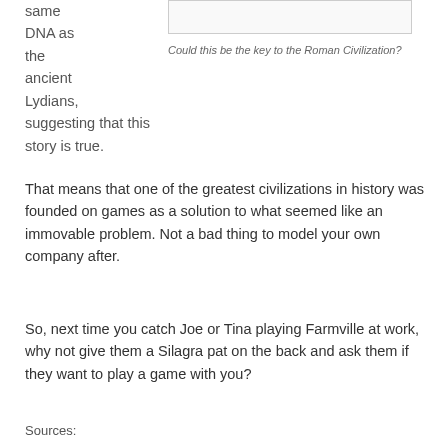same DNA as the ancient Lydians, suggesting that this story is true.
[Figure (other): Partially visible image at top right with border]
Could this be the key to the Roman Civilization?
That means that one of the greatest civilizations in history was founded on games as a solution to what seemed like an immovable problem. Not a bad thing to model your own company after.
So, next time you catch Joe or Tina playing Farmville at work, why not give them a Silagra pat on the back and ask them if they want to play a game with you?
Sources: